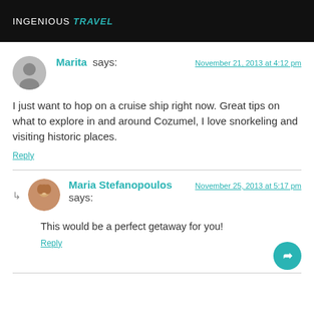INGENIOUS Travel
Marita says:
November 21, 2013 at 4:12 pm
I just want to hop on a cruise ship right now. Great tips on what to explore in and around Cozumel, I love snorkeling and visiting historic places.
Reply
Maria Stefanopoulos says:
November 25, 2013 at 5:17 pm
This would be a perfect getaway for you!
Reply